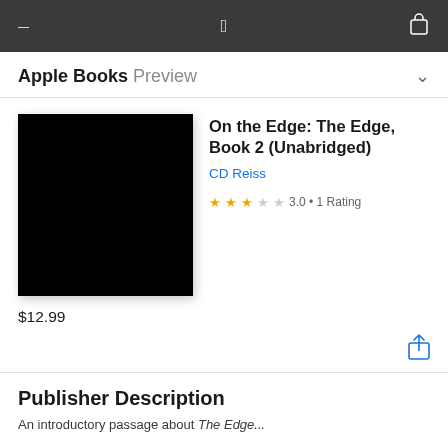Apple Books Preview
On the Edge: The Edge, Book 2 (Unabridged)
CD Reiss
3.0 • 1 Rating
[Figure (illustration): Black book cover image]
$12.99
Publisher Description
An introductory sentence about The Edge...